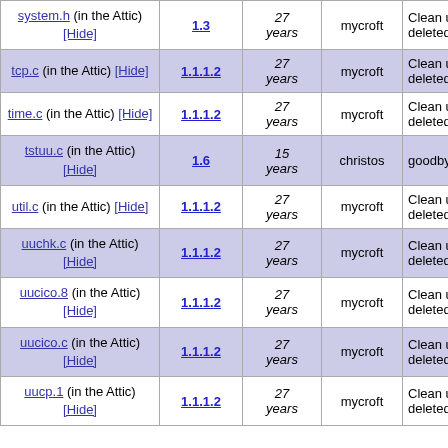| File | Rev. | Age | Author | Log |
| --- | --- | --- | --- | --- |
| system.h (in the Attic) [Hide] | 1.3 | 27 years | mycroft | Clean up deleted files. |
| tcp.c (in the Attic) [Hide] | 1.1.1.2 | 27 years | mycroft | Clean up deleted files. |
| time.c (in the Attic) [Hide] | 1.1.1.2 | 27 years | mycroft | Clean up deleted files. |
| tstuu.c (in the Attic) [Hide] | 1.6 | 15 years | christos | goodbye uucp |
| util.c (in the Attic) [Hide] | 1.1.1.2 | 27 years | mycroft | Clean up deleted files. |
| uuchk.c (in the Attic) [Hide] | 1.1.1.2 | 27 years | mycroft | Clean up deleted files. |
| uucico.8 (in the Attic) [Hide] | 1.1.1.2 | 27 years | mycroft | Clean up deleted files. |
| uucico.c (in the Attic) [Hide] | 1.1.1.2 | 27 years | mycroft | Clean up deleted files. |
| uucp.1 (in the Attic) [Hide] | 1.1.1.2 | 27 years | mycroft | Clean up deleted files. |